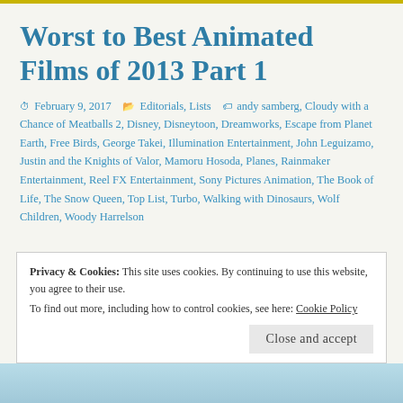Worst to Best Animated Films of 2013 Part 1
February 9, 2017  Editorials, Lists  andy samberg, Cloudy with a Chance of Meatballs 2, Disney, Disneytoon, Dreamworks, Escape from Planet Earth, Free Birds, George Takei, Illumination Entertainment, John Leguizamo, Justin and the Knights of Valor, Mamoru Hosoda, Planes, Rainmaker Entertainment, Reel FX Entertainment, Sony Pictures Animation, The Book of Life, The Snow Queen, Top List, Turbo, Walking with Dinosaurs, Wolf Children, Woody Harrelson
Privacy & Cookies: This site uses cookies. By continuing to use this website, you agree to their use. To find out more, including how to control cookies, see here: Cookie Policy
Close and accept
[Figure (photo): Partial view of animated film characters at the bottom of the page]